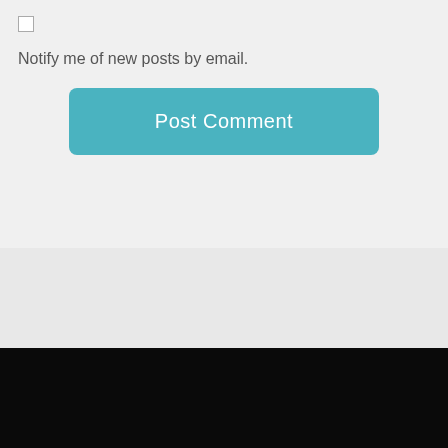Notify me of new posts by email.
Post Comment
Copyright © 2013. Created by Meks. Powered by WordPress.